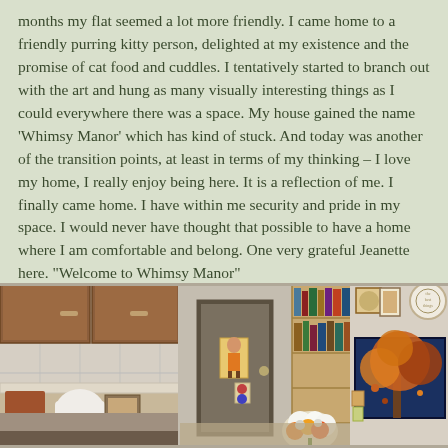months my flat seemed a lot more friendly. I came home to a friendly purring kitty person, delighted at my existence and the promise of cat food and cuddles. I tentatively started to branch out with the art and hung as many visually interesting things as I could everywhere there was a space. My house gained the name 'Whimsy Manor' which has kind of stuck. And today was another of the transition points, at least in terms of my thinking – I love my home, I really enjoy being here. It is a reflection of me. I finally came home. I have within me security and pride in my space. I would never have thought that possible to have a home where I am comfortable and belong. One very grateful Jeanette here. "Welcome to Whimsy Manor"
[Figure (photo): Interior photo of a flat/home (Whimsy Manor) showing a kitchen area on the left with wooden cabinets and a door in the center, decorated with artwork and pictures on the walls and shelves filled with books. Flowers and paintings visible on the right side.]